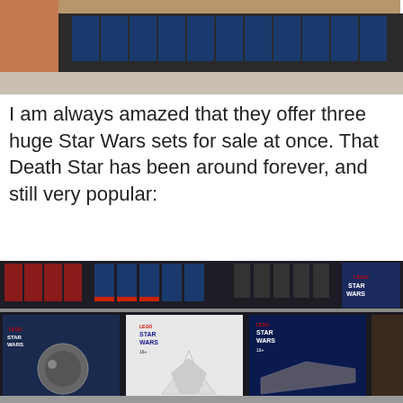[Figure (photo): Top portion of a photo showing shelves with LEGO boxes in a room, partially cropped.]
I am always amazed that they offer three huge Star Wars sets for sale at once. That Death Star has been around forever, and still very popular:
[Figure (photo): Photo of store shelves stocked with large LEGO Star Wars sets including the Death Star, Imperial Shuttle, Super Star Destroyer, and other Star Wars sets.]